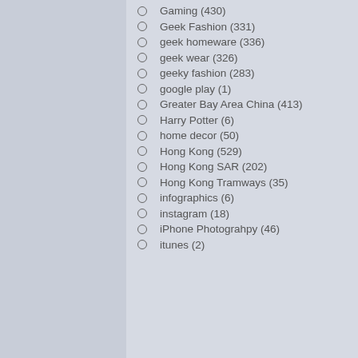Gaming (430)
Geek Fashion (331)
geek homeware (336)
geek wear (326)
geeky fashion (283)
google play (1)
Greater Bay Area China (413)
Harry Potter (6)
home decor (50)
Hong Kong (529)
Hong Kong SAR (202)
Hong Kong Tramways (35)
infographics (6)
instagram (18)
iPhone Photograhpy (46)
itunes (2)